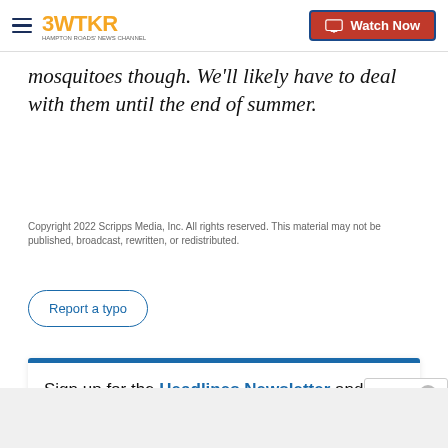3WTKR | Watch Now
mosquitoes though. We'll likely have to deal with them until the end of summer.
Copyright 2022 Scripps Media, Inc. All rights reserved. This material may not be published, broadcast, rewritten, or redistributed.
Report a typo
Sign up for the Headlines Newsletter and receive up to date information.
E-mail